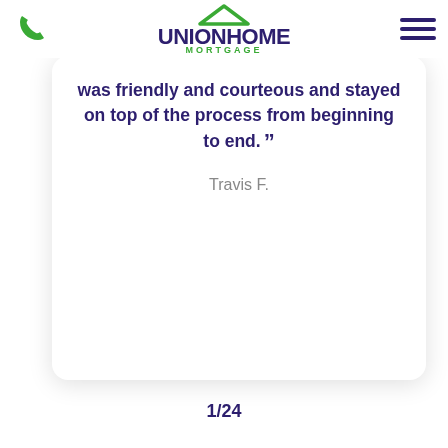Union Home Mortgage
was friendly and courteous and stayed on top of the process from beginning to end.
Travis F.
1/24